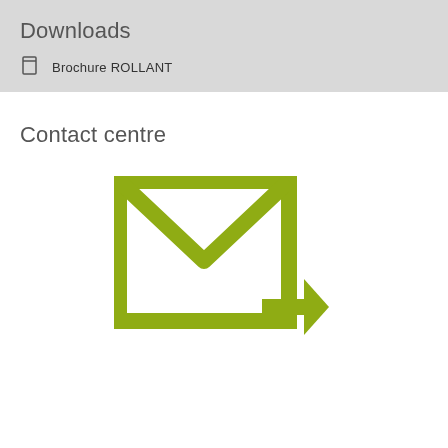Downloads
Brochure ROLLANT
Contact centre
[Figure (illustration): Envelope icon with an arrow pointing to the right, drawn in olive/yellow-green color, representing a contact/email link.]